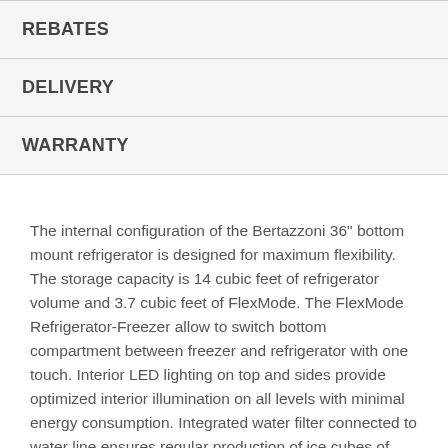REBATES
DELIVERY
WARRANTY
The internal configuration of the Bertazzoni 36" bottom mount refrigerator is designed for maximum flexibility. The storage capacity is 14 cubic feet of refrigerator volume and 3.7 cubic feet of FlexMode. The FlexMode Refrigerator-Freezer allow to switch bottom compartment between freezer and refrigerator with one touch. Interior LED lighting on top and sides provide optimized interior illumination on all levels with minimal energy consumption. Integrated water filter connected to water line ensures regular production of ice cubes of customizable size. Replacement water filters are available for purchase. Your